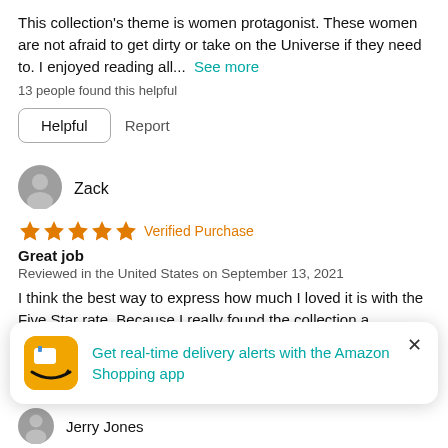This collection's theme is women protagonist. These women are not afraid to get dirty or take on the Universe if they need to. I enjoyed reading all...  See more
13 people found this helpful
Helpful   Report
Zack
[Figure (other): Five orange star rating icons followed by orange text 'Verified Purchase']
Great job
Reviewed in the United States on September 13, 2021
I think the best way to express how much I loved it is with the Five Star rate. Because I really found the collection a refreshing read. I am glad it bought the book.
One person found this helpful
Get real-time delivery alerts with the Amazon Shopping app
Jerry Jones